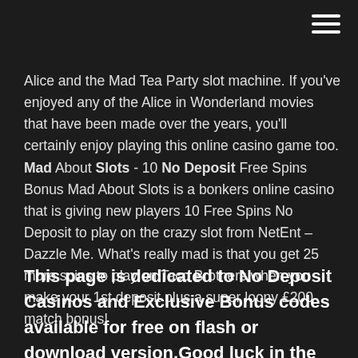Alice and the Mad Tea Party slot machine. If you've enjoyed any of the Alice in Wonderland movies that have been made over the years, you'll certainly enjoy playing this online casino game too. Mad About Slots - 10 No Deposit Free Spins Bonus Mad About Slots is a bonkers online casino that is giving new players 10 Free Spins No Deposit to play on the crazy slot from NetEnt – Dazzle Me. What's really mad is that you get 25 more spins to play on Taco Brothers when you make your 1st deposit plus a super loony £200 match bonus!
This page is dedicated to No Deposit Casinos and Exclusive Bonus codes available for free on flash or download version.Good luck in the games and may